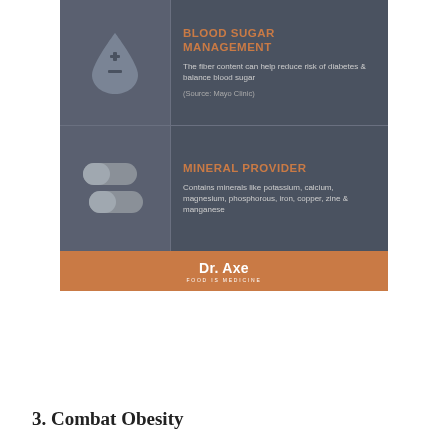[Figure (infographic): Health infographic with two rows: 'Blood Sugar Management' (drop icon with plus/minus, text about fiber reducing diabetes risk, source Mayo Clinic) and 'Mineral Provider' (pill icons, text about minerals like potassium, calcium, magnesium, phosphorous, iron, copper, zine & manganese). Footer bar shows 'Dr. Axe FOOD IS MEDICINE' logo on copper/brown background.]
3. Combat Obesity